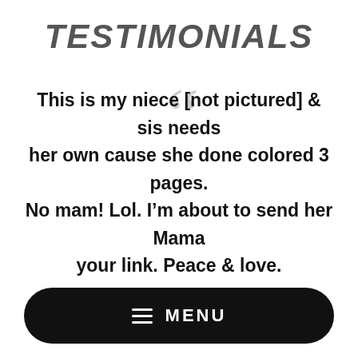TESTIMONIALS
This is my niece [not pictured] & sis needs her own cause she done colored 3 pages. No mam! Lol. I'm about to send her Mama your link. Peace & love.
– teericayaniece
MENU